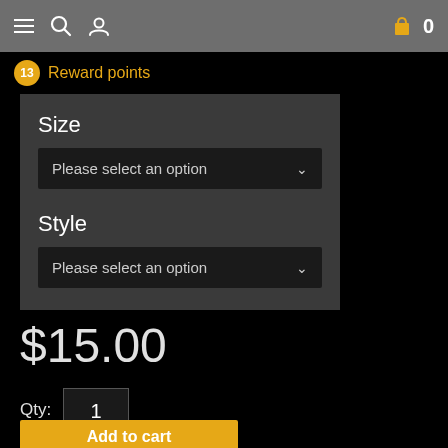Navigation bar with menu, search, and profile icons; cart icon with 0 items
🔶 13  Reward points
Size
Please select an option
Style
Please select an option
$15.00
Qty: 1
Add to cart